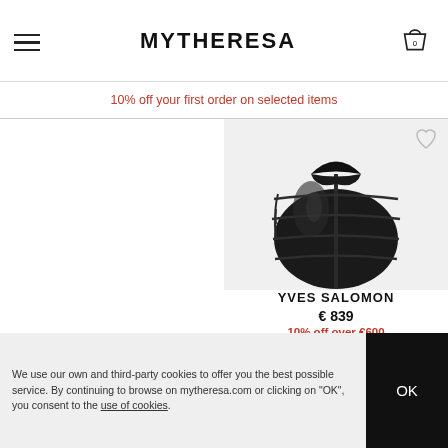MYTHERESA
10% off your first order on selected items
[Figure (photo): Black quilted puffer jacket by Yves Salomon, cropped view showing torso]
YVES SALOMON
€ 839
10% off over €600
[Figure (photo): Pink double-breasted short coat, cropped view]
[Figure (photo): Mustard/ochre double-breasted short coat, cropped view]
We use our own and third-party cookies to offer you the best possible service. By continuing to browse on mytheresa.com or clicking on "OK", you consent to the use of cookies.